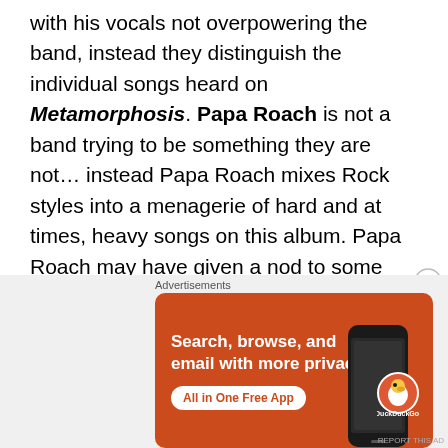with his vocals not overpowering the band, instead they distinguish the individual songs heard on Metamorphosis. Papa Roach is not a band trying to be something they are not… instead Papa Roach mixes Rock styles into a menagerie of hard and at times, heavy songs on this album. Papa Roach may have given a nod to some decades old, retrospective melodic heaviness, yet still kept the relevancy factor at full throttle. O.k., I'm guilty of calling the most accessible song on Metamorphosis my favorite… Lifeline more than rivets me, it lifts my spirits high. I posted just how much this album thrilled me, on April 7, 2009… click below to see what I blabbed.
[Figure (other): DuckDuckGo advertisement banner: Search, browse, and email with more privacy. All in One Free App. Shows DuckDuckGo logo and a smartphone.]